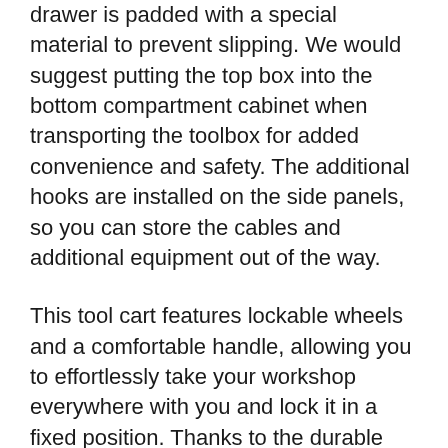drawer is padded with a special material to prevent slipping. We would suggest putting the top box into the bottom compartment cabinet when transporting the toolbox for added convenience and safety. The additional hooks are installed on the side panels, so you can store the cables and additional equipment out of the way.
This tool cart features lockable wheels and a comfortable handle, allowing you to effortlessly take your workshop everywhere with you and lock it in a fixed position. Thanks to the durable materials it's made of, this toolbox is perfectly safe to store in garages or warehouses, among other equipment, without worrying about scratches or dents.